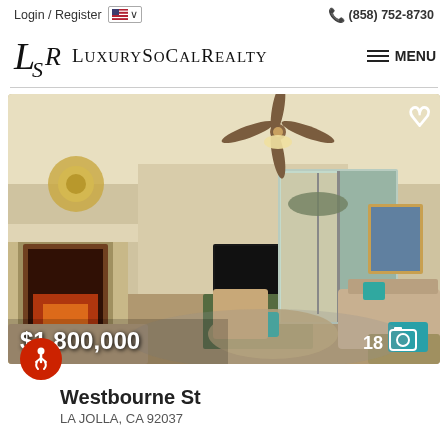Login / Register  🇺🇸 ∨   📞 (858) 752-8730
[Figure (logo): LuxurySoCalRealty logo with stylized LSR monogram and serif wordmark]
≡ MENU
[Figure (photo): Interior living room photo of luxury home showing ceiling fan, fireplace, sliding glass doors to patio, couch with pillows, and coffee table. Price overlay: $1,800,000. Photo count: 18.]
Westbourne St
LA JOLLA, CA 92037